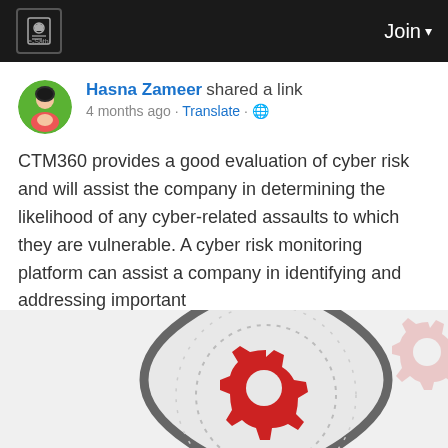e-Sathi | Join
Hasna Zameer shared a link
4 months ago - Translate - 🌐
CTM360 provides a good evaluation of cyber risk and will assist the company in determining the likelihood of any cyber-related assaults to which they are vulnerable. A cyber risk monitoring platform can assist a company in identifying and addressing important
Read more
[Figure (illustration): Shield with gear/cog icons in red and gray, representing cybersecurity concept. A large gray shield with a red gear in the center, dotted inner circle, red dotted arc at top, and a pink gear in upper right corner.]